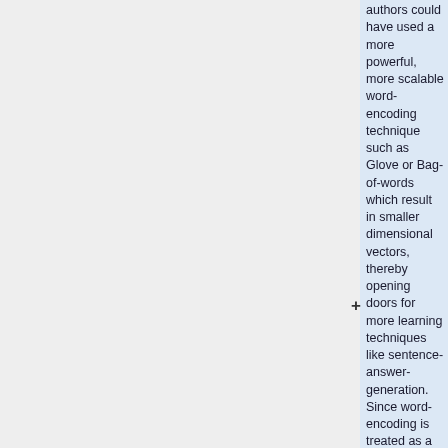authors could have used a more powerful, more scalable word-encoding technique such as Glove or Bag-of-words which result in smaller dimensional vectors, thereby opening doors for more learning techniques like sentence-answer-generation. Since word-encoding is treated as a separate task